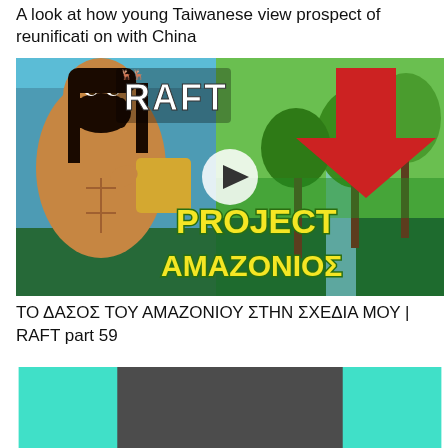A look at how young Taiwanese view prospect of reunification with China
[Figure (screenshot): YouTube video thumbnail for 'PROJECT AMAZONIΟΣ' showing a muscular shirtless man with a beard holding a sponge/coconut, with a large red arrow pointing down, tropical trees and a waterfall in background, RAFT game logo, and play button overlay]
ΤΟ ΔΑΣΟΣ ΤΟΥ ΑΜΑΖΟΝΙΟΥ ΣΤΗΝ ΣΧΕΔΙΑ ΜΟΥ | RAFT part 59
[Figure (screenshot): Partially visible video thumbnail with teal/cyan edges and a dark gray center area, cropped at bottom of page]